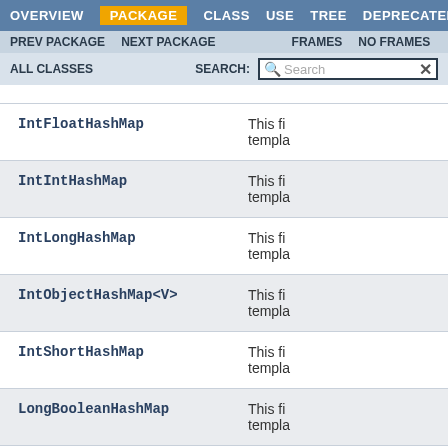OVERVIEW | PACKAGE | CLASS | USE | TREE | DEPRECATED
PREV PACKAGE | NEXT PACKAGE | FRAMES | NO FRAMES
ALL CLASSES | SEARCH:
| Class | Description |
| --- | --- |
| IntFloatHashMap | This fi... templa... |
| IntIntHashMap | This fi... templa... |
| IntLongHashMap | This fi... templa... |
| IntObjectHashMap<V> | This fi... templa... |
| IntShortHashMap | This fi... templa... |
| LongBooleanHashMap | This fi... templa... |